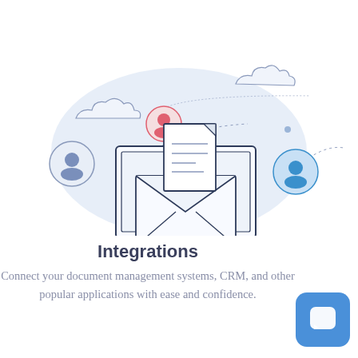[Figure (illustration): Flat-style illustration showing a laptop with an open envelope and a document rising out of it, surrounded by user avatar icons in colored circles (red, grey/blue, teal), cloud shapes, a paper airplane, and dashed lines suggesting email/integration connections. Background has a soft blue oval shape.]
Integrations
Connect your document management systems, CRM, and other popular applications with ease and confidence.
[Figure (other): Blue rounded-square chat/message button icon in bottom-right corner.]